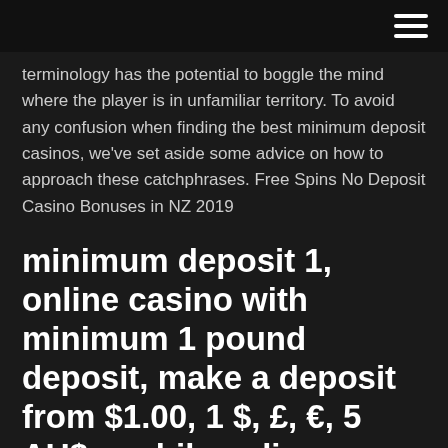terminology has the potential to boggle the mind where the player is in unfamiliar territory. To avoid any confusion when finding the best minimum deposit casinos, we've set aside some advice on how to approach these catchphrases. Free Spins No Deposit Casino Bonuses in NZ 2019
minimum deposit 1, online casino with minimum 1 pound deposit, make a deposit from $1.00, 1 $, £, €, 5 AU$, mobile online casinos, Pound Euro and Canadian Dollar mobile online casinos, 1 minimum deposit online casino, pound or NZ dollar